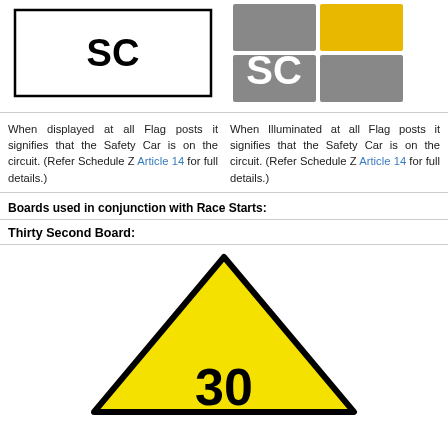[Figure (illustration): White rectangular board with bold black text 'SC' centered]
[Figure (illustration): 4-panel grid: two grey panels, one yellow panel top-right, one grey panel bottom-right, with white bold 'SC' text on left grey panels]
When displayed at all Flag posts it signifies that the Safety Car is on the circuit. (Refer Schedule Z Article 14 for full details.)
When Illuminated at all Flag posts it signifies that the Safety Car is on the circuit. (Refer Schedule Z Article 14 for full details.)
Boards used in conjunction with Race Starts:
Thirty Second Board:
[Figure (illustration): Yellow diamond/triangle-shaped board with bold black number '30' visible at bottom, black border outline]